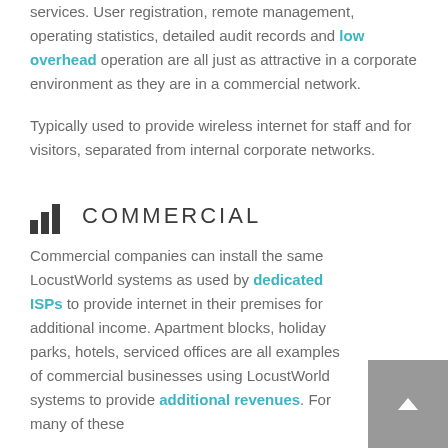services. User registration, remote management, operating statistics, detailed audit records and low overhead operation are all just as attractive in a corporate environment as they are in a commercial network.
Typically used to provide wireless internet for staff and for visitors, separated from internal corporate networks.
COMMERCIAL
Commercial companies can install the same LocustWorld systems as used by dedicated ISPs to provide internet in their premises for additional income. Apartment blocks, holiday parks, hotels, serviced offices are all examples of commercial businesses using LocustWorld systems to provide additional revenues. For many of these